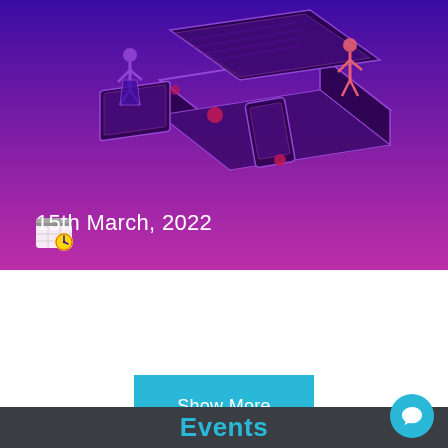[Figure (illustration): Purple to pink gradient banner with isometric illustration of people working with digital devices (laptop, tablet, phone). A calendar icon with clock and the text '15th March, 2022' overlaid at the bottom left.]
15th March, 2022
Show More
Events